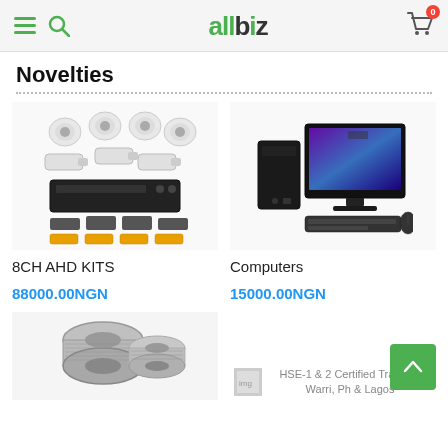allbiz — navigation header with menu, search, logo, and cart
Novelties
[Figure (photo): 8CH AHD security camera kit with dome cameras, bullet cameras, DVR, and accessories]
8CH AHD KITS
88000.00NGN
[Figure (photo): Desktop computer with monitor, keyboard, and mouse]
Computers
15000.00NGN
[Figure (photo): Steel wire spools / welding wire rolls]
HSE-1 & 2 Certified Training, Warri, Ph & Lagos